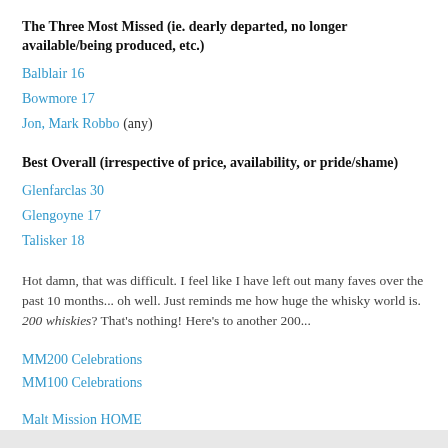The Three Most Missed (ie. dearly departed, no longer available/being produced, etc.)
Balblair 16
Bowmore 17
Jon, Mark Robbo (any)
Best Overall (irrespective of price, availability, or pride/shame)
Glenfarclas 30
Glengoyne 17
Talisker 18
Hot damn, that was difficult. I feel like I have left out many faves over the past 10 months... oh well. Just reminds me how huge the whisky world is. 200 whiskies? That's nothing! Here's to another 200...
MM200 Celebrations
MM100 Celebrations
Malt Mission HOME